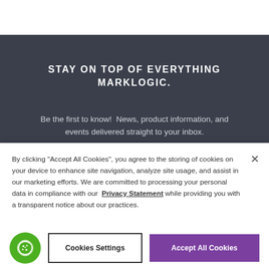STAY ON TOP OF EVERYTHING MARKLOGIC.
Be the first to know!  News, product information, and events delivered straight to your inbox.
By clicking “Accept All Cookies”, you agree to the storing of cookies on your device to enhance site navigation, analyze site usage, and assist in our marketing efforts. We are committed to processing your personal data in compliance with our Privacy Statement while providing you with a transparent notice about our practices.
Cookies Settings
Accept All Cookies